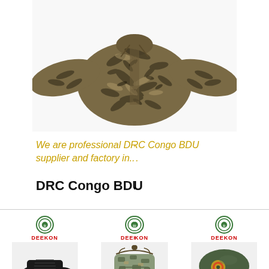[Figure (photo): Camouflage military BDU jacket with jungle/leaf pattern in brown and dark green, laid flat on white background, long sleeves spread out]
We are professional DRC Congo BDU supplier and factory in...
DRC Congo BDU
[Figure (photo): Black military lace-up shoe/boot, low-cut, on white background, with DEEKON logo above]
[Figure (photo): Camouflage military cargo/field bag with drawstring top, on white background, with DEEKON logo above]
[Figure (photo): Olive green military beret/cap with badge/emblem, on white background, with DEEKON logo above]